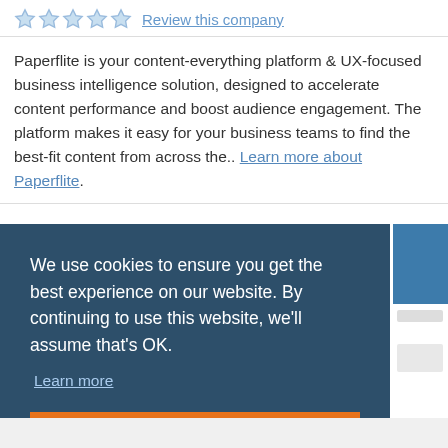Review this company
Paperflite is your content-everything platform & UX-focused business intelligence solution, designed to accelerate content performance and boost audience engagement. The platform makes it easy for your business teams to find the best-fit content from across the.. Learn more about Paperflite.
We use cookies to ensure you get the best experience on our website. By continuing to use this website, we'll assume that's OK.
Learn more
OK